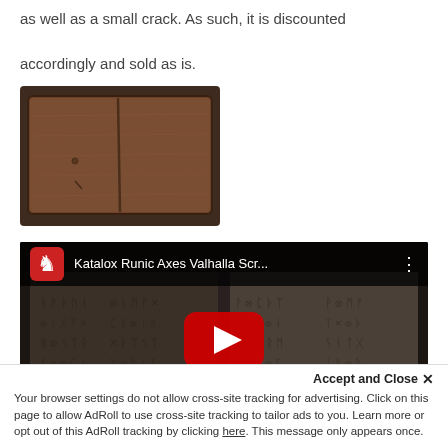as well as a small crack. As such, it is discounted accordingly and sold as is.
[Figure (photo): Product photo of a wooden box/case, dark walnut finish, viewed from the back showing hinge and small crack]
[Figure (screenshot): YouTube video embed thumbnail showing 'Katalox Runic Axes Valhalla Scr...' with runic symbols engraved on wooden book-style dice box, play button overlay]
Accept and Close ✕
Your browser settings do not allow cross-site tracking for advertising. Click on this page to allow AdRoll to use cross-site tracking to tailor ads to you. Learn more or opt out of this AdRoll tracking by clicking here. This message only appears once.